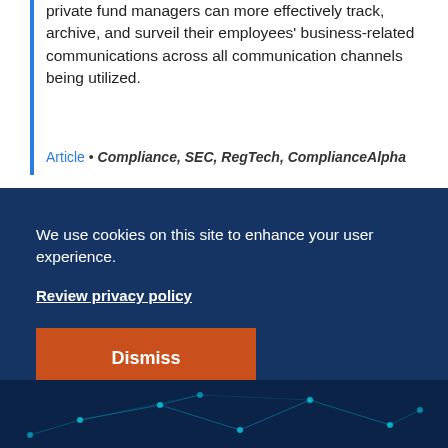private fund managers can more effectively track, archive, and surveil their employees' business-related communications across all communication channels being utilized.
Article • Compliance, SEC, RegTech, ComplianceAlpha
We use cookies on this site to enhance your user experience.
Review privacy policy
Dismiss